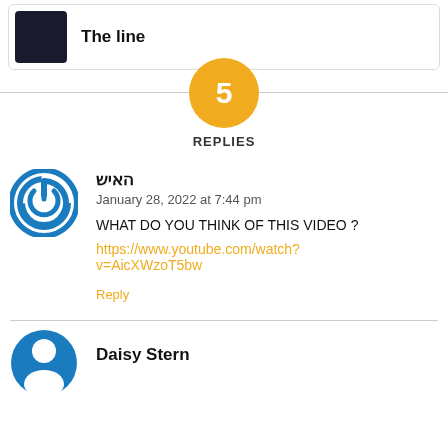The line
5 REPLIES
האיש
January 28, 2022 at 7:44 pm
WHAT DO YOU THINK OF THIS VIDEO ?
https://www.youtube.com/watch?v=AicXWzoT5bw
Reply
Daisy Stern